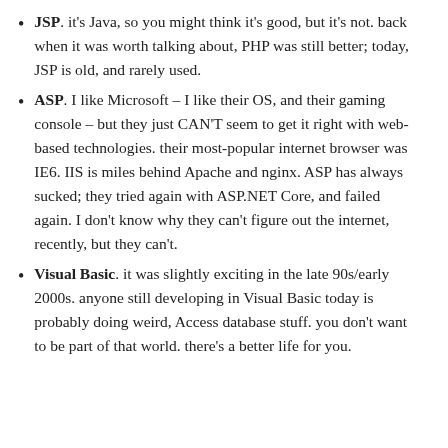JSP. it's Java, so you might think it's good, but it's not. back when it was worth talking about, PHP was still better; today, JSP is old, and rarely used.
ASP. I like Microsoft – I like their OS, and their gaming console – but they just CAN'T seem to get it right with web-based technologies. their most-popular internet browser was IE6. IIS is miles behind Apache and nginx. ASP has always sucked; they tried again with ASP.NET Core, and failed again. I don't know why they can't figure out the internet, recently, but they can't.
Visual Basic. it was slightly exciting in the late 90s/early 2000s. anyone still developing in Visual Basic today is probably doing weird, Access database stuff. you don't want to be part of that world. there's a better life for you.